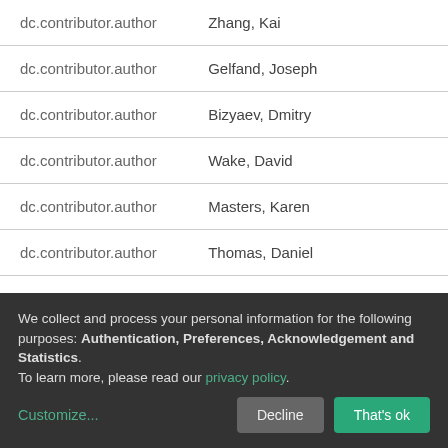| Field | Value |
| --- | --- |
| dc.contributor.author | Zhang, Kai |
| dc.contributor.author | Gelfand, Joseph |
| dc.contributor.author | Bizyaev, Dmitry |
| dc.contributor.author | Wake, David |
| dc.contributor.author | Masters, Karen |
| dc.contributor.author | Thomas, Daniel |
| dc.contributor.author | Li, Cheng |
| dc.contributor.author | Riffel, Rogemar A. |
We collect and process your personal information for the following purposes: Authentication, Preferences, Acknowledgement and Statistics. To learn more, please read our privacy policy.